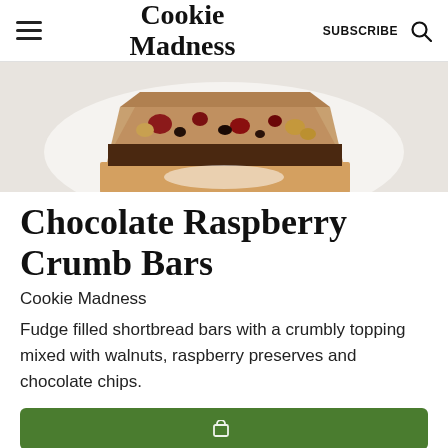Cookie Madness | SUBSCRIBE
[Figure (photo): Overhead photo of a chocolate raspberry crumb bar slice on a white plate, showing raspberry preserves, chocolate chips, and walnuts on top of a shortbread crust.]
Chocolate Raspberry Crumb Bars
Cookie Madness
Fudge filled shortbread bars with a crumbly topping mixed with walnuts, raspberry preserves and chocolate chips.